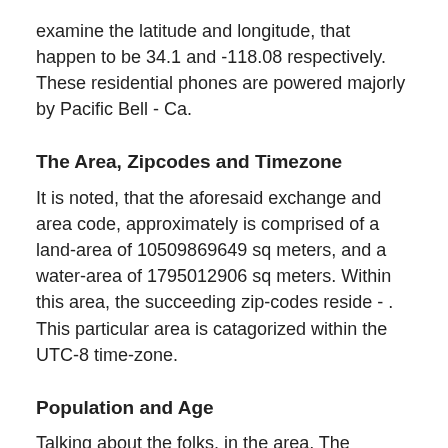examine the latitude and longitude, that happen to be 34.1 and -118.08 respectively. These residential phones are powered majorly by Pacific Bell - Ca.
The Area, Zipcodes and Timezone
It is noted, that the aforesaid exchange and area code, approximately is comprised of a land-area of 10509869649 sq meters, and a water-area of 1795012906 sq meters. Within this area, the succeeding zip-codes reside - . This particular area is catagorized within the UTC-8 time-zone.
Population and Age
Talking about the folks, in the area, The population has been approximated to be 9818605. This consists of 4839654 men and